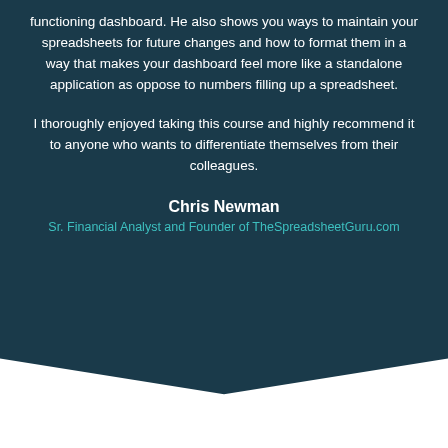functioning dashboard. He also shows you ways to maintain your spreadsheets for future changes and how to format them in a way that makes your dashboard feel more like a standalone application as oppose to numbers filling up a spreadsheet.
I thoroughly enjoyed taking this course and highly recommend it to anyone who wants to differentiate themselves from their colleagues.
Chris Newman
Sr. Financial Analyst and Founder of TheSpreadsheetGuru.com